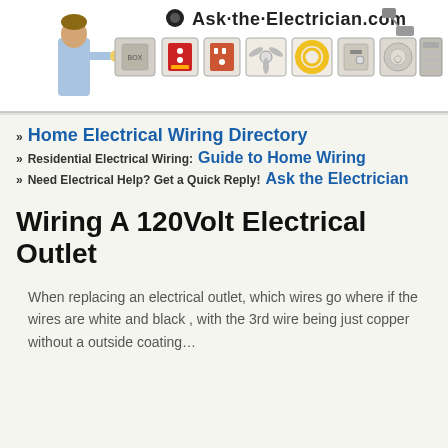[Figure (logo): Ask-the-Electrician.com website header banner with site logo, electrician person illustration, and small icons of electrical equipment (outlets, fans, fixtures, panels)]
» Home Electrical Wiring Directory
» Residential Electrical Wiring: Guide to Home Wiring
» Need Electrical Help? Get a Quick Reply! Ask the Electrician
Wiring A 120Volt Electrical Outlet
When replacing an electrical outlet, which wires go where if the wires are white and black , with the 3rd wire being just copper without a outside coating…